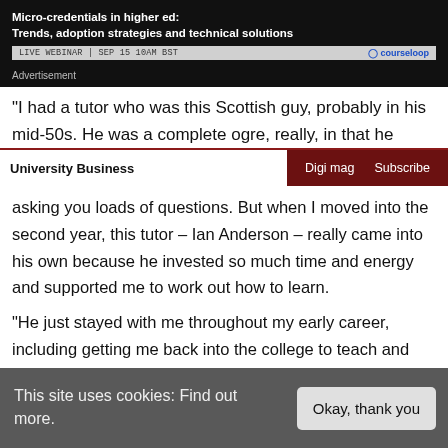[Figure (other): Advertisement banner for Courseloop webinar: Micro-credentials in higher ed: Trends, adoption strategies and technical solutions. LIVE WEBINAR | SEP 15 10AM BST]
Advertisement
“I had a tutor who was this Scottish guy, probably in his mid-50s. He was a complete ogre, really, in that he
University Business | Digi mag | Subscribe
asking you loads of questions. But when I moved into the second year, this tutor – Ian Anderson – really came into his own because he invested so much time and energy and supported me to work out how to learn.
“He just stayed with me throughout my early career, including getting me back into the college to teach and then supported me through my undergraduate and then
This site uses cookies: Find out more.